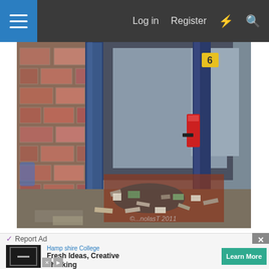Log in   Register
[Figure (photo): Photograph of a derelict building entrance with blue painted metal door frames, a brick wall on the left, debris and rubble scattered on the ground. A red fire extinguisher is visible on the right door frame. Watermark reads 'c...nolasT 2011' in bottom right corner.]
Report Ad
[Figure (screenshot): Advertisement for Hampshire College. Logo shows a building/columns icon on dark background. Text: 'Hampshire College - Fresh Ideas, Creative Thinking'. Green 'Learn More' button on right.]